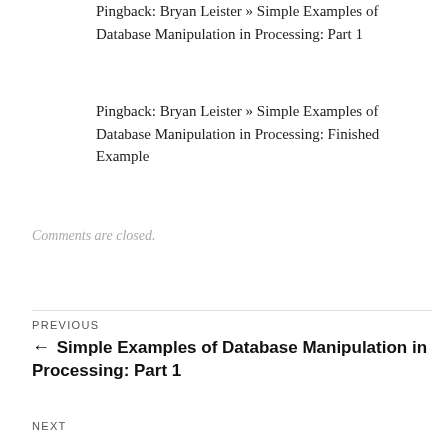Pingback: Bryan Leister » Simple Examples of Database Manipulation in Processing: Part 1
Pingback: Bryan Leister » Simple Examples of Database Manipulation in Processing: Finished Example
Comments are closed.
PREVIOUS
← Simple Examples of Database Manipulation in Processing: Part 1
NEXT